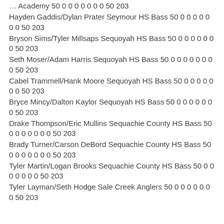… Academy 50 0 0 0 0 0 0 0 50 203
Hayden Gaddis/Dylan Prater Seymour HS Bass 50 0 0 0 0 0 0 0 50 203
Bryson Sims/Tyler Millsaps Sequoyah HS Bass 50 0 0 0 0 0 0 0 50 203
Seth Moser/Adam Harris Sequoyah HS Bass 50 0 0 0 0 0 0 0 0 50 203
Cabel Trammell/Hank Moore Sequoyah HS Bass 50 0 0 0 0 0 0 0 50 203
Bryce Mincy/Dalton Kaylor Sequoyah HS Bass 50 0 0 0 0 0 0 0 50 203
Drake Thompson/Eric Mullins Sequachie County HS Bass 50 0 0 0 0 0 0 0 50 203
Brady Turner/Carson DeBord Sequachie County HS Bass 50 0 0 0 0 0 0 0 50 203
Tyler Martin/Logan Brooks Sequachie County HS Bass 50 0 0 0 0 0 0 0 50 203
Tyler Layman/Seth Hodge Sale Creek Anglers 50 0 0 0 0 0 0 0 50 203